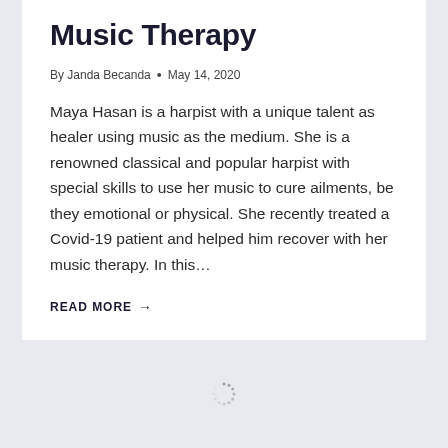Music Therapy
By Janda Becanda • May 14, 2020
Maya Hasan is a harpist with a unique talent as healer using music as the medium. She is a renowned classical and popular harpist with special skills to use her music to cure ailments, be they emotional or physical. She recently treated a Covid-19 patient and helped him recover with her music therapy. In this…
READ MORE →